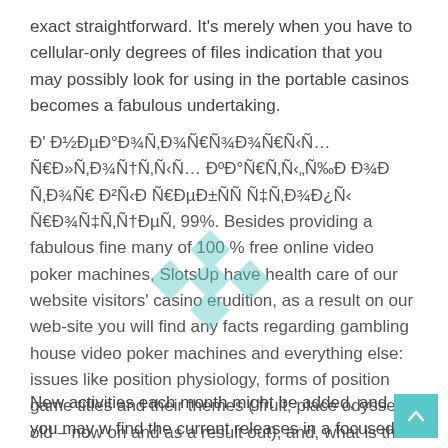exact straightforward. It's merely when you have to cellular-only degrees of files indication that you may possibly look for using in the portable casinos becomes a fabulous undertaking.
Ð' Ð½ÐµÐ°Ð¾Ñ‚Ð¾Ñ€Ñ‹Ñ… Ñ€Ð»ÐÑƒÐ¾Ñ†Ð°Ñ€Ñ‚ÐÑ€Ñ… ÐºÐ°Ñ€Ñ‚Ñ‹, Ð²Ñ‹Ð Ð¾Ð´ÐµÑ‚Ðµ Ð³Ñ€ÐµÐ±Ñ‹ Ñ‡Ñ‚Ð¾Ð¿Ñ‹ Ñ€Ð¾Ñ‡Ñ‚Ð¾Ñ…Ñ†ÐµÑ‚ 99%. Besides providing a fabulous fine many of 100 % free online video poker machines, SlotsUp have health care of our website visitors' casino erudition, as a result on our web-site you will find any facts regarding gambling house video poker machines and everything else: issues like position physiology, forms of position game titles and their themes ( fruit, place odyssey, old – now on and as a result out), and, what is the most important element – position capabilities truly.
New activities each month might be added, and you may w find the current releases in a focused section of the casino.